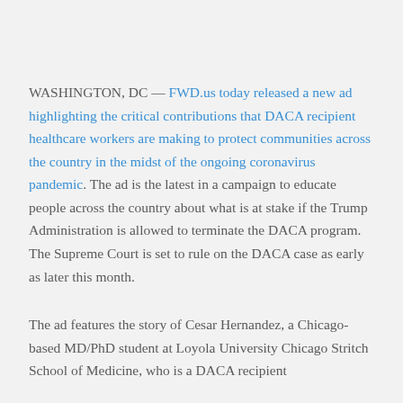WASHINGTON, DC — FWD.us today released a new ad highlighting the critical contributions that DACA recipient healthcare workers are making to protect communities across the country in the midst of the ongoing coronavirus pandemic. The ad is the latest in a campaign to educate people across the country about what is at stake if the Trump Administration is allowed to terminate the DACA program. The Supreme Court is set to rule on the DACA case as early as later this month.
The ad features the story of Cesar Hernandez, a Chicago-based MD/PhD student at Loyola University Chicago Stritch School of Medicine, who is a DACA recipient